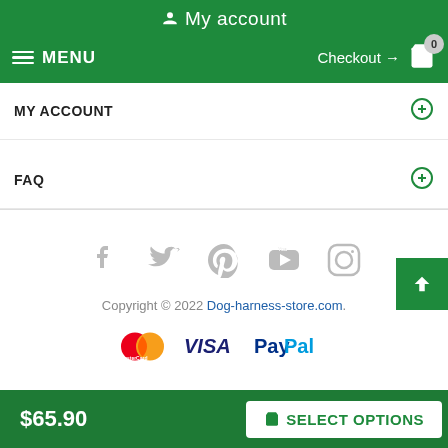My account
MENU | Checkout → 0
MY ACCOUNT
FAQ
[Figure (infographic): Social media icons: Facebook, Twitter, Pinterest, YouTube, Instagram]
Copyright © 2022 Dog-harness-store.com.
[Figure (infographic): Payment method logos: MasterCard, VISA, PayPal]
$65.90
SELECT OPTIONS